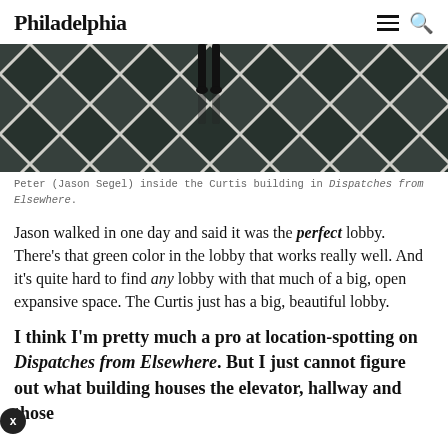Philadelphia
[Figure (photo): A person (legs visible) walking on a black and white diamond-patterned floor inside the Curtis building, viewed from above.]
Peter (Jason Segel) inside the Curtis building in Dispatches from Elsewhere.
Jason walked in one day and said it was the perfect lobby. There’s that green color in the lobby that works really well. And it’s quite hard to find any lobby with that much of a big, open expansive space. The Curtis just has a big, beautiful lobby.
I think I’m pretty much a pro at location-spotting on Dispatches from Elsewhere. But I just cannot figure out what building houses the elevator, hallway and those